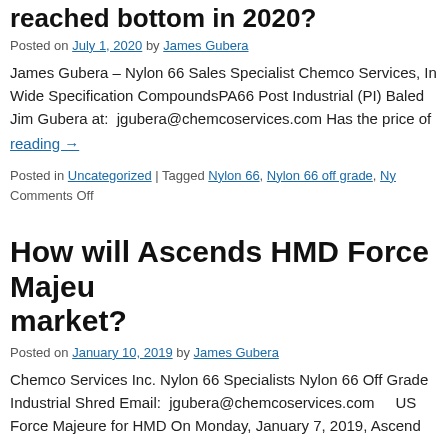reached bottom in 2020?
Posted on July 1, 2020 by James Gubera
James Gubera – Nylon 66 Sales Specialist Chemco Services, Inc. Wide Specification CompoundsPA66 Post Industrial (PI) Baled Jim Gubera at:  jgubera@chemcoservices.com Has the price of
reading →
Posted in Uncategorized | Tagged Nylon 66, Nylon 66 off grade, Ny... Comments Off
How will Ascends HMD Force Majeure affect the market?
Posted on January 10, 2019 by James Gubera
Chemco Services Inc. Nylon 66 Specialists Nylon 66 Off Grade Industrial Shred Email:  jgubera@chemcoservices.com  US Force Majeure for HMD On Monday, January 7, 2019, Ascend